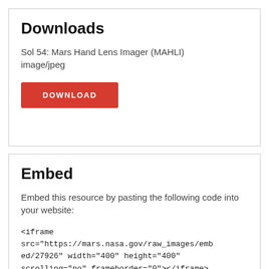Downloads
Sol 54: Mars Hand Lens Imager (MAHLI) image/jpeg
DOWNLOAD
Embed
Embed this resource by pasting the following code into your website:
<iframe src="https://mars.nasa.gov/raw_images/embed/27926" width="400" height="400" scrolling="no" frameborder="0"></iframe>